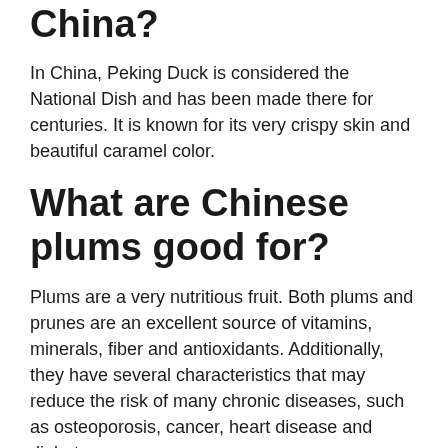China?
In China, Peking Duck is considered the National Dish and has been made there for centuries. It is known for its very crispy skin and beautiful caramel color.
What are Chinese plums good for?
Plums are a very nutritious fruit. Both plums and prunes are an excellent source of vitamins, minerals, fiber and antioxidants. Additionally, they have several characteristics that may reduce the risk of many chronic diseases, such as osteoporosis, cancer, heart disease and diabetes.